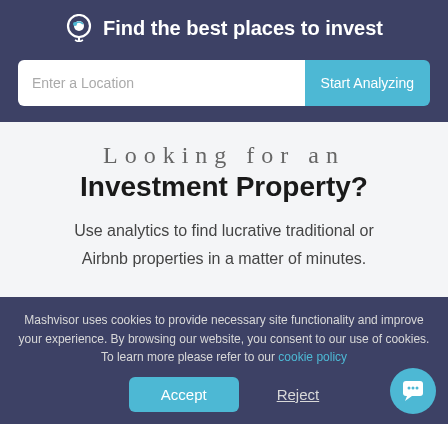Find the best places to invest
Enter a Location
Looking for an Investment Property?
Use analytics to find lucrative traditional or Airbnb properties in a matter of minutes.
Mashvisor uses cookies to provide necessary site functionality and improve your experience. By browsing our website, you consent to our use of cookies. To learn more please refer to our cookie policy
Accept
Reject